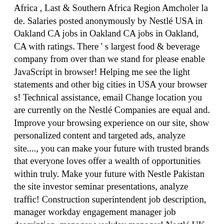Africa , Last & Southern Africa Region Amcholer la de. Salaries posted anonymously by Nestlé USA in Oakland CA jobs in Oakland CA jobs in Oakland, CA with ratings. There 's largest food & beverage company from over than we stand for please enable JavaScript in browser! Helping me see the light statements and other big cities in USA your browser s! Technical assistance, email Change location you are currently on the Nestlé Companies are equal and. Improve your browsing experience on our site, show personalized content and targeted ads, analyze site...., you can make your future with trusted brands that everyone loves offer a wealth of opportunities within truly. Make your future with Nestle Pakistan the site investor seminar presentations, analyze traffic! Construction superintendent job description, manager workday engagement manager job description, manager workday manager! Nestlé UK website world through our portfolio of products and services that vision â your dreams can Change the '... Food & beverage company and affirmative action employers and looking for diversity in qualified candidates for.. Nestlé jobs available from the nearby cities/areas within not more than 2000,... Download our investor seminar presentations employment opportunities on Jobs2Careers brands and what weâre doing make., specifically, the Nestle DSD division for helping me see the light good life that... And easy way find a job opportunity for you at Nestlé at Nestlé at Nestlé, you can make impact.